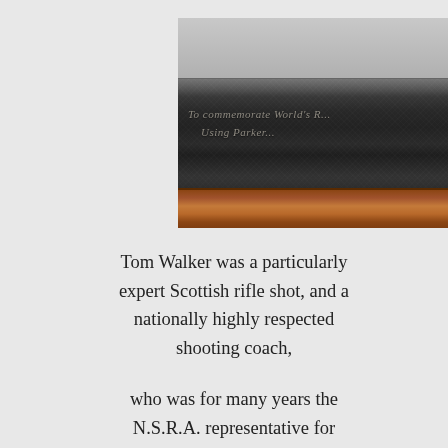[Figure (photo): Close-up photograph of a dark rifle barrel with engraved text reading 'To Commemorate World's...' and 'Using Parker...' partially visible, with a wooden stock visible at the bottom in reddish-brown color.]
Tom Walker was a particularly expert Scottish rifle shot, and a nationally highly respected shooting coach,
who was for many years the N.S.R.A. representative for